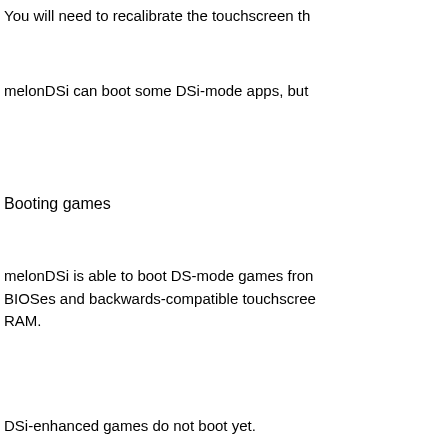You will need to recalibrate the touchscreen th...
melonDSi can boot some DSi-mode apps, but...
Booting games
melonDSi is able to boot DS-mode games from... BIOSes and backwards-compatible touchscree... RAM.
DSi-enhanced games do not boot yet.
Direct boot is likely to break things as it hasn't...
Other issues
Do not attempt using savestates, they can and...
melonDSi is based on melonDS 0.8.1, so it will... http://melonds.kuribo64.net/ https://www.emucr.com/2019/10/melondsi-beta...
To read more of the post and Download, cli...
Join In and Discuss Here
Submit News and Releases Here and Contact...